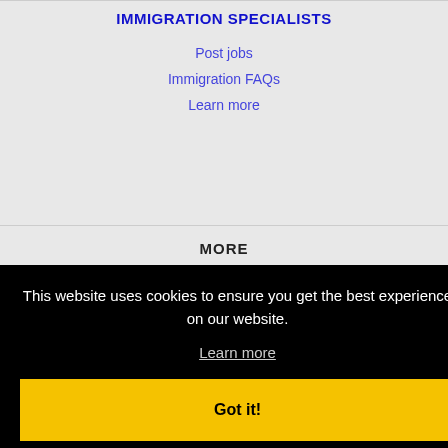IMMIGRATION SPECIALISTS
Post jobs
Immigration FAQs
Learn more
MORE
This website uses cookies to ensure you get the best experience on our website.
Learn more
Got it!
Independence, MO Jobs